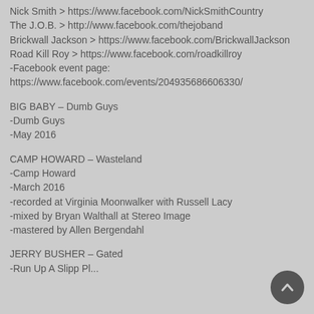Nick Smith > https://www.facebook.com/NickSmithCountry
The J.O.B. > http://www.facebook.com/thejoband
Brickwall Jackson > https://www.facebook.com/BrickwallJackson
Road Kill Roy > https://www.facebook.com/roadkillroy
-Facebook event page:
https://www.facebook.com/events/204935686606330/
BIG BABY – Dumb Guys
-Dumb Guys
-May 2016
CAMP HOWARD – Wasteland
-Camp Howard
-March 2016
-recorded at Virginia Moonwalker with Russell Lacy
-mixed by Bryan Walthall at Stereo Image
-mastered by Allen Bergendahl
JERRY BUSHER – Gated
-Run Up A Slipp Pl...